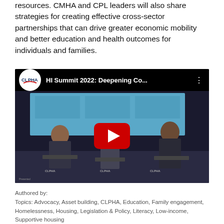resources. CMHA and CPL leaders will also share strategies for creating effective cross-sector partnerships that can drive greater economic mobility and better education and health outcomes for individuals and families.
[Figure (screenshot): YouTube video embed showing 'HI Summit 2022: Deepening Co...' with CLPHA logo in top-left circle, a red play button in the center, and a panel discussion scene with three people seated on a stage in front of a screen.]
Authored by:
Topics: Advocacy, Asset building, CLPHA, Education, Family engagement, Homelessness, Housing, Legislation & Policy, Literacy, Low-income, Supportive housing